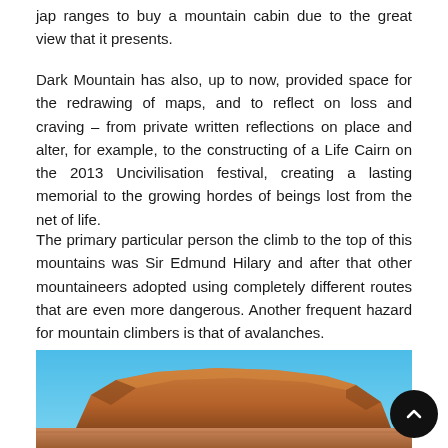jap ranges to buy a mountain cabin due to the great view that it presents.
Dark Mountain has also, up to now, provided space for the redrawing of maps, and to reflect on loss and craving – from private written reflections on place and alter, for example, to the constructing of a Life Cairn on the 2013 Uncivilisation festival, creating a lasting memorial to the growing hordes of beings lost from the net of life.
The primary particular person the climb to the top of this mountains was Sir Edmund Hilary and after that other mountaineers adopted using completely different routes that are even more dangerous. Another frequent hazard for mountain climbers is that of avalanches.
[Figure (photo): A photo of a red-orange rocky mountain formation against a blue sky, with flat desert terrain below.]